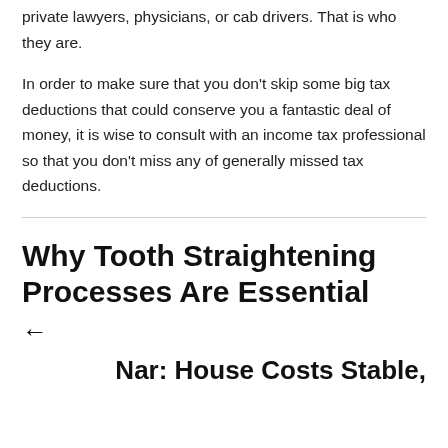private lawyers, physicians, or cab drivers. That is who they are.
In order to make sure that you don’t skip some big tax deductions that could conserve you a fantastic deal of money, it is wise to consult with an income tax professional so that you don’t miss any of generally missed tax deductions.
Why Tooth Straightening Processes Are Essential
←
Nar: House Costs Stable,